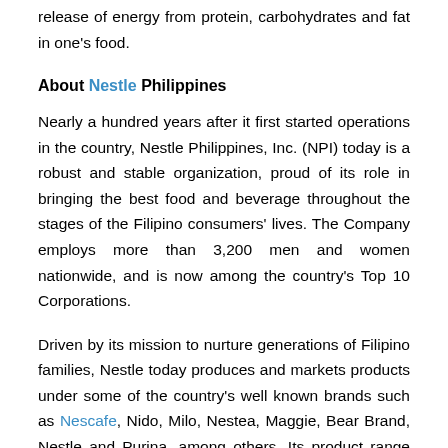release of energy from protein, carbohydrates and fat in one's food.
About Nestle Philippines
Nearly a hundred years after it first started operations in the country, Nestle Philippines, Inc. (NPI) today is a robust and stable organization, proud of its role in bringing the best food and beverage throughout the stages of the Filipino consumers' lives. The Company employs more than 3,200 men and women nationwide, and is now among the country's Top 10 Corporations.
Driven by its mission to nurture generations of Filipino families, Nestle today produces and markets products under some of the country's well known brands such as Nescafe, Nido, Milo, Nestea, Maggie, Bear Brand, Nestle and Purina, among others. Its product range has